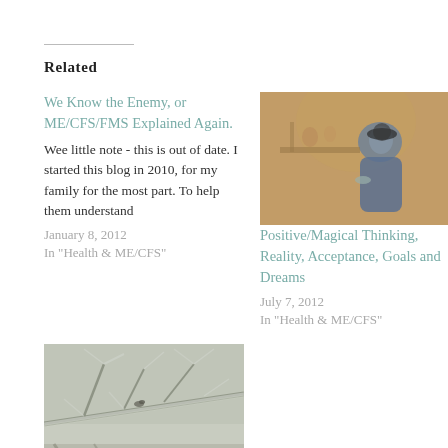Related
We Know the Enemy, or ME/CFS/FMS Explained Again.
Wee little note - this is out of date. I started this blog in 2010, for my family for the most part. To help them understand
January 8, 2012
In "Health & ME/CFS"
[Figure (photo): Painting of a woman in blue dress viewed from behind, standing near a table or counter, warm brown background tones]
Positive/Magical Thinking, Reality, Acceptance, Goals and Dreams
July 7, 2012
In "Health & ME/CFS"
[Figure (photo): Winter ice-covered tree branches, pale blue-grey tones]
15 Years: Time, Memory,